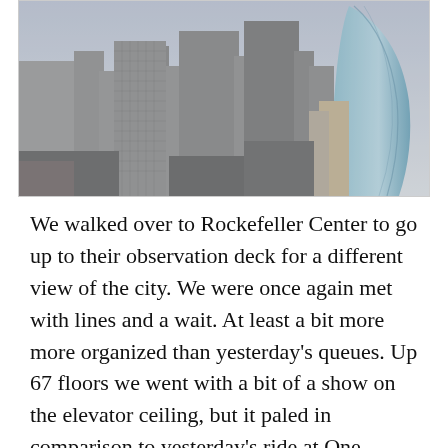[Figure (photo): Aerial cityscape view of New York City skyscrapers, including a prominent curved glass tower on the right, taken from an elevated observation point.]
We walked over to Rockefeller Center to go up to their observation deck for a different view of the city. We were once again met with lines and a wait. At least a bit more more organized than yesterday's queues. Up 67 floors we went with a bit of a show on the elevator ceiling, but it paled in comparison to yesterday's ride at One World Trade Center. The view was pleasing, as we could again look 360 degrees on three levels. The weather today was definitely warmer, about 85 degrees, but there was no try. I have mentioned that we try not to